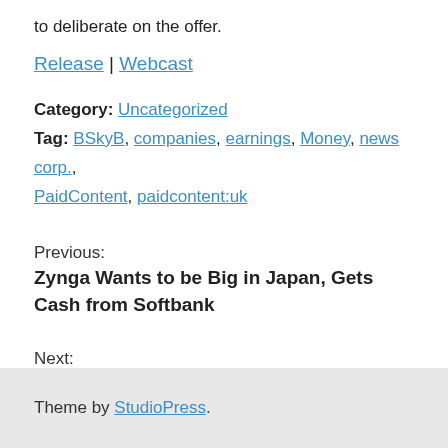to deliberate on the offer.
Release | Webcast
Category: Uncategorized
Tag: BSkyB, companies, earnings, Money, news corp., PaidContent, paidcontent:uk
Previous:
Zynga Wants to be Big in Japan, Gets Cash from Softbank
Next:
Amazon Hopes Less is More With New Kindles
Theme by StudioPress.